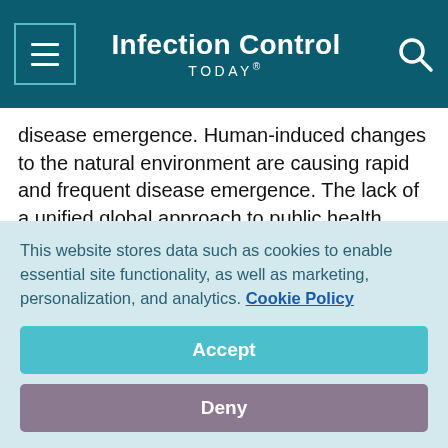Infection Control TODAY®
disease emergence. Human-induced changes to the natural environment are causing rapid and frequent disease emergence. The lack of a unified global approach to public health issues and wildlife conservation is a driving force that requires international action and funding. Diseases such as malaria, dengue, Lassa fever, Chikungunya and other vector-borne diseases have collectively infected and caused higher morbidity rates than Ebola has historically – these other diseases...
This website stores data such as cookies to enable essential site functionality, as well as marketing, personalization, and analytics. Cookie Policy
Accept
Deny